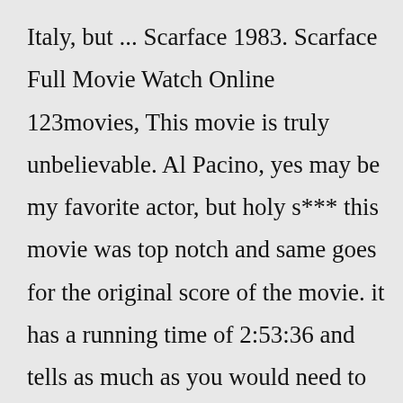Italy, but ... Scarface 1983. Scarface Full Movie Watch Online 123movies, This movie is truly unbelievable. Al Pacino, yes may be my favorite actor, but holy s*** this movie was top notch and same goes for the original score of the movie. it has a running time of 2:53:36 and tells as much as you would need to know about the fascinating character of Tony Montana.Ardh Satya (1983).avi. Ardh Satya (Half Truth) is a